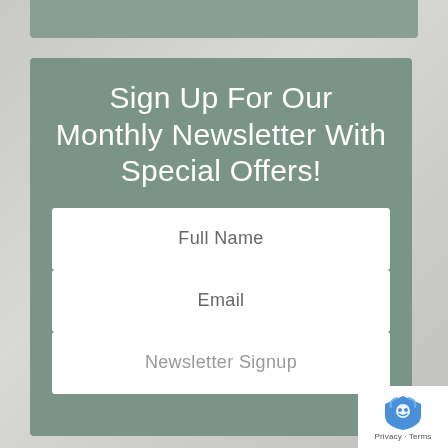Sign Up For Our Monthly Newsletter With Special Offers!
Full Name
Email
Newsletter Signup
[Figure (logo): reCAPTCHA badge with shield icon showing robot graphic, and text 'Privacy - Terms']